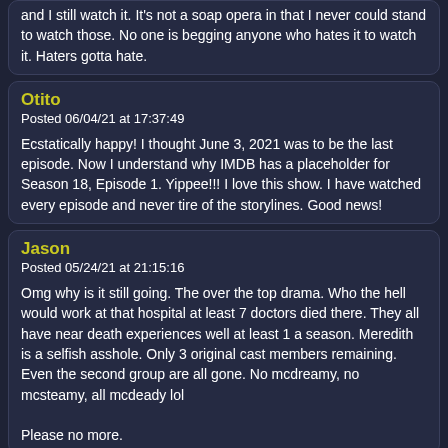and I still watch it. It's not a soap opera in that I never could stand to watch those. No one is begging anyone who hates it to watch it. Haters gotta hate.
Otito
Posted 06/04/21 at 17:37:49

Ecstatically happy! I thought June 3, 2021 was to be the last episode. Now I understand why IMDB has a placeholder for Season 18, Episode 1. Yippee!!! I love this show. I have watched every episode and never tire of the storylines. Good news!
Jason
Posted 05/24/21 at 21:15:16

Omg why is it still going. The over the top drama. Who the hell would work at that hospital at least 7 doctors died there. They all have near death experiences well at least 1 a season. Meredith is a selfish asshole. Only 3 original cast members remaining. Even the second group are all gone. No mcdreamy, no mcsteamy, all mcdeady lol

Please no more.
Rodger